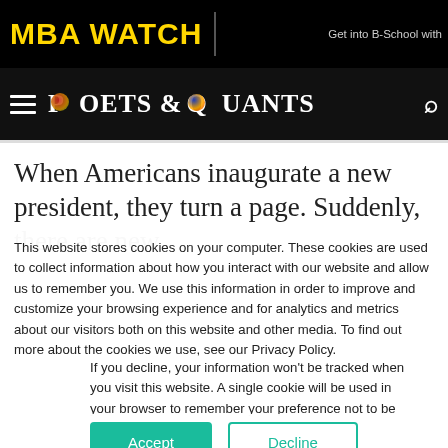MBA WATCH
Get into B-School with
[Figure (logo): Poets & Quants logo with hamburger menu and search icon on dark navigation bar]
When Americans inaugurate a new president, they turn a page. Suddenly, there are new
This website stores cookies on your computer. These cookies are used to collect information about how you interact with our website and allow us to remember you. We use this information in order to improve and customize your browsing experience and for analytics and metrics about our visitors both on this website and other media. To find out more about the cookies we use, see our Privacy Policy.
If you decline, your information won’t be tracked when you visit this website. A single cookie will be used in your browser to remember your preference not to be tracked.